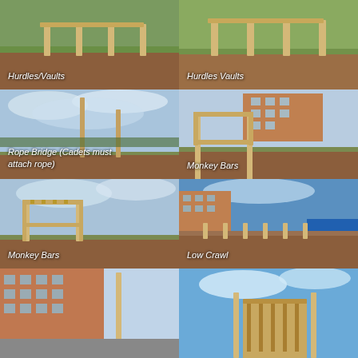[Figure (photo): Outdoor obstacle course - hurdles/vaults, wooden posts with horizontal beams on red dirt ground with grass]
Hurdles/Vaults
[Figure (photo): Outdoor obstacle course - hurdles vaults, similar wooden structure on grassy field]
Hurdles Vaults
[Figure (photo): Outdoor obstacle course - rope bridge structure, tall poles on grassy field with cloudy sky, note that cadets must attach rope]
Rope Bridge (Cadets must attach rope)
[Figure (photo): Outdoor obstacle course - monkey bars frame, large wooden rectangular frame structure near brick building]
Monkey Bars
[Figure (photo): Outdoor obstacle course - monkey bars structure with overhead rungs on grassy field]
Monkey Bars
[Figure (photo): Outdoor obstacle course - low crawl obstacle with wooden posts near brick building and blue fence]
Low Crawl
[Figure (photo): Outdoor obstacle course - partial view of structure near multi-story brick building]
[Figure (photo): Outdoor obstacle course - partial view of wooden obstacle structure against blue sky]